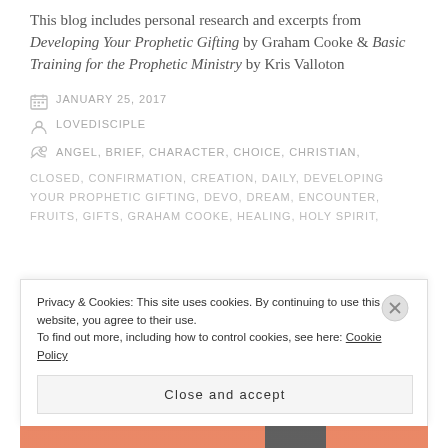This blog includes personal research and excerpts from Developing Your Prophetic Gifting by Graham Cooke & Basic Training for the Prophetic Ministry by Kris Valloton
JANUARY 25, 2017
LOVEDISCIPLE
ANGEL, BRIEF, CHARACTER, CHOICE, CHRISTIAN, CLOSED, CONFIRMATION, CREATION, DAILY, DEVELOPING YOUR PROPHETIC GIFTING, DEVO, DREAM, ENCOUNTER, FRUITS, GIFTS, GRAHAM COOKE, HEALING, HOLY SPIRIT,
Privacy & Cookies: This site uses cookies. By continuing to use this website, you agree to their use.
To find out more, including how to control cookies, see here: Cookie Policy
Close and accept